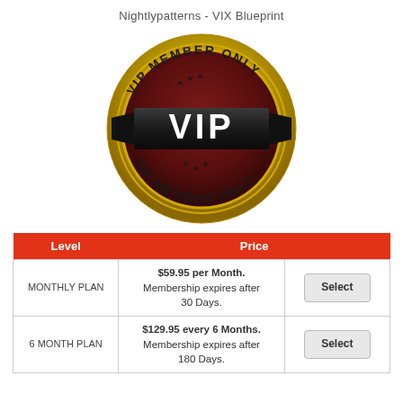Nightlypatterns - VIX Blueprint
[Figure (illustration): VIP Member Only badge — gold circular badge with dark red center, black ribbon banner across the middle with 'VIP' in white bold text, gold text reading 'VIP MEMBER ONLY' along the top and bottom arcs, stars decorating the top and bottom sections]
| Level | Price |  |
| --- | --- | --- |
| MONTHLY PLAN | $59.95 per Month.
Membership expires after 30 Days. | Select |
| 6 MONTH PLAN | $129.95 every 6 Months.
Membership expires after 180 Days. | Select |